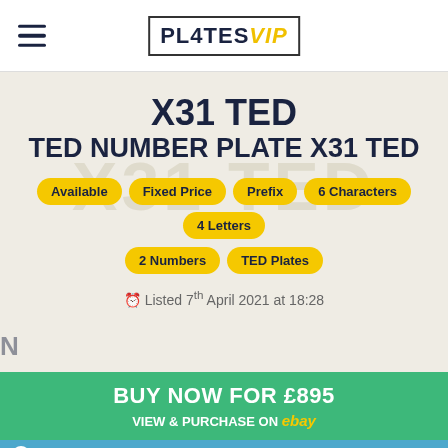PL4TES VIP
X31 TED
TED NUMBER PLATE X31 TED
Available
Fixed Price
Prefix
6 Characters
4 Letters
2 Numbers
TED Plates
Listed 7th April 2021 at 18:28
BUY NOW FOR £895
VIEW & PURCHASE ON ebay
This advert may have expired